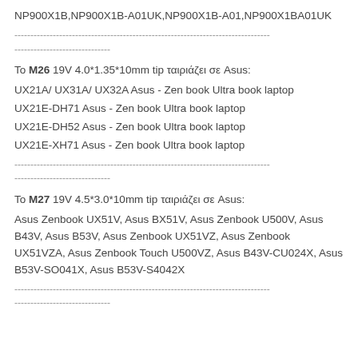NP900X1B,NP900X1B-A01UK,NP900X1B-A01,NP900X1BA01UK
--------------------------------------------------------------------------------
------------------------------
To M26 19V 4.0*1.35*10mm tip ταιριάζει σε Asus:
UX21A/ UX31A/ UX32A Asus - Zen book Ultra book laptop
UX21E-DH71 Asus - Zen book Ultra book laptop
UX21E-DH52 Asus - Zen book Ultra book laptop
UX21E-XH71 Asus - Zen book Ultra book laptop
--------------------------------------------------------------------------------
------------------------------
To M27 19V 4.5*3.0*10mm tip ταιριάζει σε Asus:
Asus Zenbook UX51V, Asus BX51V, Asus Zenbook U500V, Asus B43V, Asus B53V, Asus Zenbook UX51VZ, Asus Zenbook UX51VZA, Asus Zenbook Touch U500VZ, Asus B43V-CU024X, Asus B53V-SO041X, Asus B53V-S4042X
--------------------------------------------------------------------------------
------------------------------